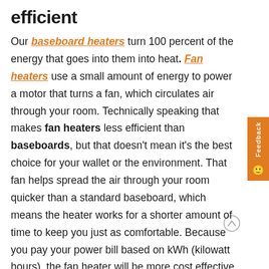efficient
Our baseboard heaters turn 100 percent of the energy that goes into them into heat. Fan heaters use a small amount of energy to power a motor that turns a fan, which circulates air through your room. Technically speaking that makes fan heaters less efficient than baseboards, but that doesn't mean it's the best choice for your wallet or the environment. That fan helps spread the air through your room quicker than a standard baseboard, which means the heater works for a shorter amount of time to keep you just as comfortable. Because you pay your power bill based on kWh (kilowatt hours), the fan heater will be more cost effective at heating your home because it will use less energy.